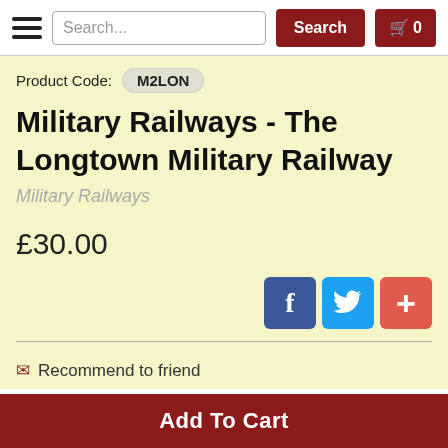Search... Search 0
Product Code: M2LON
Military Railways - The Longtown Military Railway
Military Railways
£30.00
[Figure (other): Social share buttons: Facebook (blue), Twitter (light blue), Add/Plus (coral red)]
Recommend to friend
Add To Cart